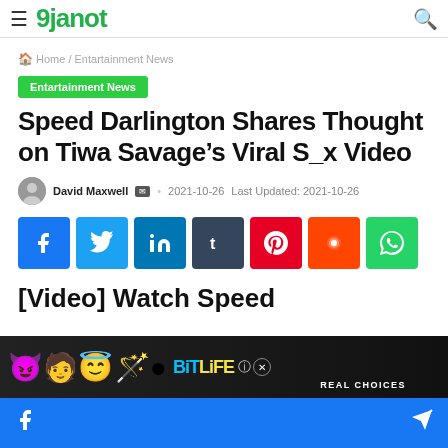9janot
Home / Entartainment News
Entartainment News
Speed Darlington Shares Thought on Tiwa Savage’s Viral S_x Video
David Maxwell · 2021-10-26 Last Updated: 2021-10-26
[Figure (infographic): Social share buttons: Facebook, Twitter, LinkedIn, Tumblr, Pinterest, Reddit, WhatsApp]
[Video] Watch Speed
[Figure (infographic): BitLife advertisement banner with emoji characters and REAL CHOICES text]